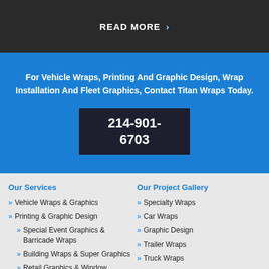READ MORE »
For Vehicle Wraps, Printing And Graphic Design, Wrap Installation And Fleet Graphics, Contact Titan Wraps Today.
214-901-6703
Our Services
Vehicle Wraps & Graphics
Printing & Graphic Design
Special Event Graphics & Barricade Wraps
Building Wraps & Super Graphics
Retail Graphics & Window Graphics
Installation Services
Fleet Graphics & Wraps
Bus Graphics & Fleet Graphics
Our Project Gallery
Specialty Wraps
Car Wraps
Graphic Design
Trailer Wraps
Truck Wraps
Van Wraps
Fleet Wraps
Wall Murals and Architectural Wraps